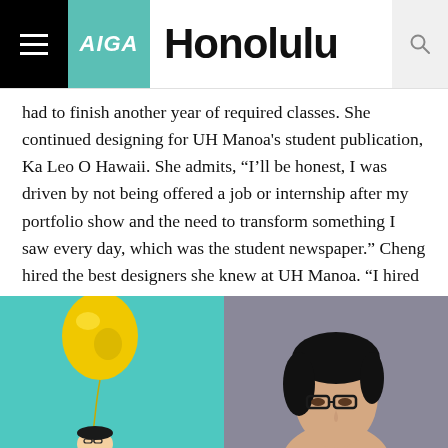AIGA Honolulu
had to finish another year of required classes. She continued designing for UH Manoa's student publication, Ka Leo O Hawaii. She admits, “I’ll be honest, I was driven by not being offered a job or internship after my portfolio show and the need to transform something I saw every day, which was the student newspaper.” Cheng hired the best designers she knew at UH Manoa. “I hired the creatives I knew to help me undertake the redesign of an entire newspaper. We worked late hours after classes to meet weekly print deadlines and it felt rewarding to refresh the newspaper in my final year of college.”
[Figure (photo): Left: person with yellow inflatable trophy balloon against cyan/teal background. Right: close-up portrait of a woman with black-rimmed glasses and dark hair against a gray-purple background.]